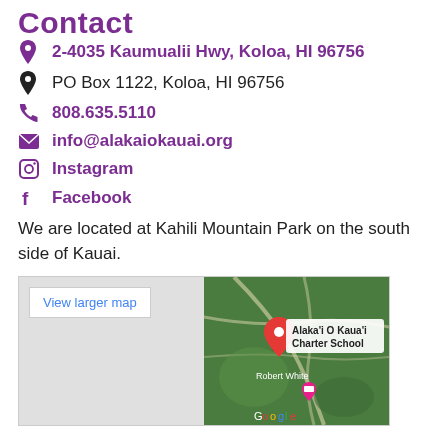Contact
2-4035 Kaumualii Hwy, Koloa, HI 96756
PO Box 1122, Koloa, HI 96756
808.635.5110
info@alakaiokauai.org
Instagram
Facebook
We are located at Kahili Mountain Park on the south side of Kauai.
[Figure (map): Google Map showing location of Alaka'i O Kaua'i Charter School at Kahili Mountain Park with a red pin marker and a nearby Robert White location marker. 'View larger map' link in top left corner.]